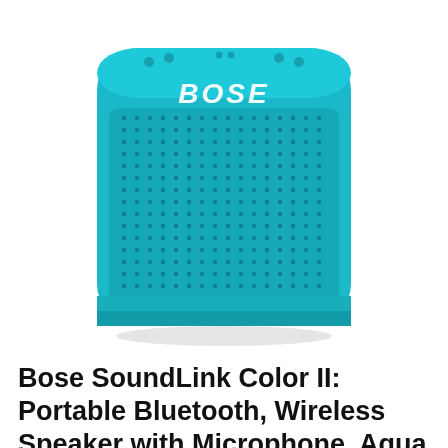[Figure (photo): Bose SoundLink Color II portable Bluetooth speaker in Aqua Blue color, front view showing rounded rectangular form with blue silicone body, dot-matrix speaker grille, BOSE logo in white, and control buttons on top]
Bose SoundLink Color II: Portable Bluetooth, Wireless Speaker with Microphone, Aqua Blue